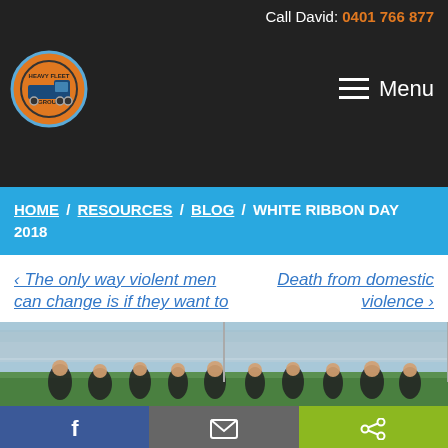Call David: 0401 766 877
[Figure (logo): Heavy Fleet Group circular logo with blue outline and orange background]
Menu
HOME / RESOURCES / BLOG / WHITE RIBBON DAY 2018
< The only way violent men can change is if they want to
Death from domestic violence >
[Figure (photo): Group of people standing on a football oval grandstand]
Facebook | Email | Share